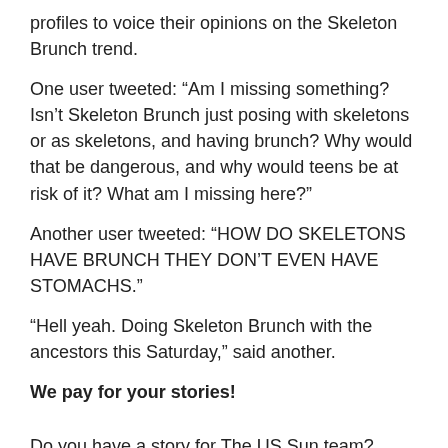profiles to voice their opinions on the Skeleton Brunch trend.
One user tweeted: “Am I missing something? Isn’t Skeleton Brunch just posing with skeletons or as skeletons, and having brunch? Why would that be dangerous, and why would teens be at risk of it? What am I missing here?”
Another user tweeted: “HOW DO SKELETONS HAVE BRUNCH THEY DON’T EVEN HAVE STOMACHS.”
“Hell yeah. Doing Skeleton Brunch with the ancestors this Saturday,” said another.
We pay for your stories!
Do you have a story for The US Sun team?
Email us at exclusive@the-sun.com or call 212 416 4552.